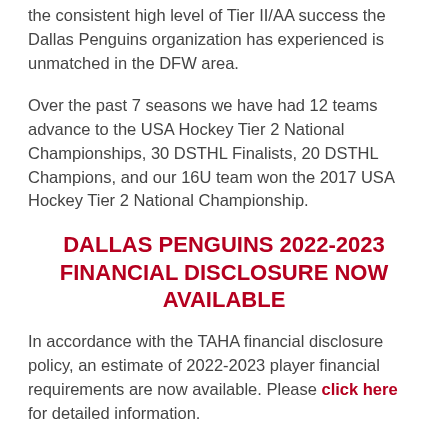the consistent high level of Tier II/AA success the Dallas Penguins organization has experienced is unmatched in the DFW area.
Over the past 7 seasons we have had 12 teams advance to the USA Hockey Tier 2 National Championships, 30 DSTHL Finalists, 20 DSTHL Champions, and our 16U team won the 2017 USA Hockey Tier 2 National Championship.
DALLAS PENGUINS 2022-2023 FINANCIAL DISCLOSURE NOW AVAILABLE
In accordance with the TAHA financial disclosure policy, an estimate of 2022-2023 player financial requirements are now available. Please click here for detailed information.